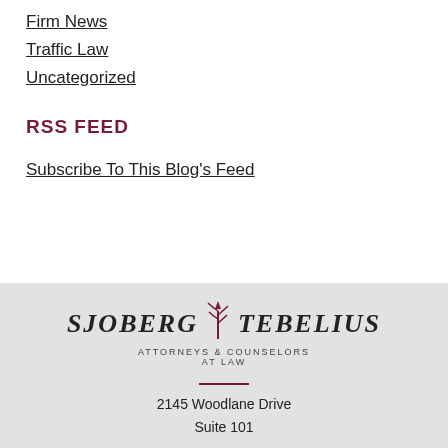Firm News
Traffic Law
Uncategorized
RSS FEED
Subscribe To This Blog's Feed
[Figure (logo): Sjoberg Tebelius Attorneys & Counselors At Law logo with decorative plant icon]
2145 Woodlane Drive
Suite 101